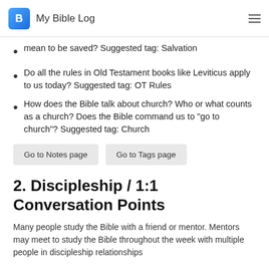My Bible Log
mean to be saved? Suggested tag: Salvation
Do all the rules in Old Testament books like Leviticus apply to us today? Suggested tag: OT Rules
How does the Bible talk about church? Who or what counts as a church? Does the Bible command us to "go to church"? Suggested tag: Church
Go to Notes page | Go to Tags page
2. Discipleship / 1:1 Conversation Points
Many people study the Bible with a friend or mentor. Mentors may meet to study the Bible throughout the week with multiple people in discipleship relationships